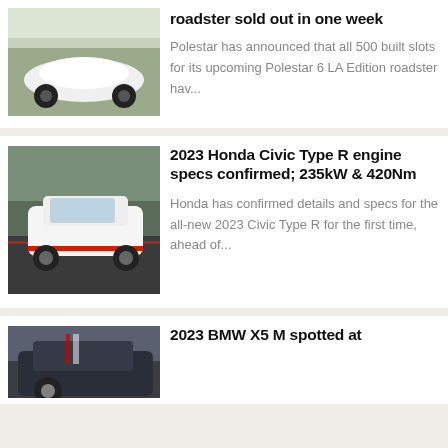[Figure (photo): White Polestar 6 LA Edition roadster on grass at outdoor event]
roadster sold out in one week
Polestar has announced that all 500 built slots for its upcoming Polestar 6 LA Edition roadster hav...
[Figure (photo): White 2023 Honda Civic Type R driving on a race track]
2023 Honda Civic Type R engine specs confirmed; 235kW & 420Nm
Honda has confirmed details and specs for the all-new 2023 Civic Type R for the first time, ahead of...
[Figure (photo): 2023 BMW X5 M partially visible at bottom of page]
2023 BMW X5 M spotted at